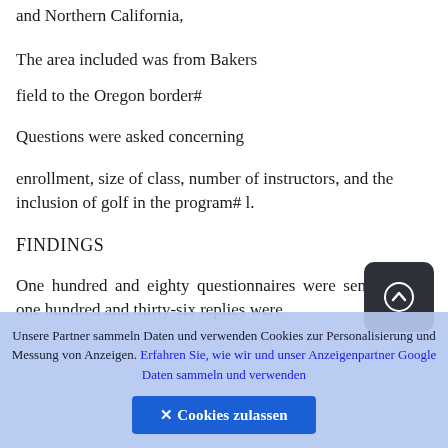and Northern California,
The area included was from Bakers
field to the Oregon border#
Questions were asked concerning
enrollment, size of class, number of instructors, and the inclusion of golf in the program# l.
FINDINGS
One hundred and eighty questionnaires were sent out and one hundred and thirty-six replies were
Unsere Partner sammeln Daten und verwenden Cookies zur Personalisierung und Messung von Anzeigen. Erfahren Sie, wie wir und unser Anzeigenpartner Google Daten sammeln und verwenden
✕ Cookies zulassen